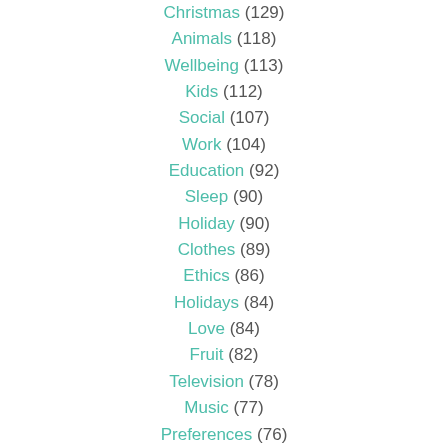Christmas (129)
Animals (118)
Wellbeing (113)
Kids (112)
Social (107)
Work (104)
Education (92)
Sleep (90)
Holiday (90)
Clothes (89)
Ethics (86)
Holidays (84)
Love (84)
Fruit (82)
Television (78)
Music (77)
Preferences (76)